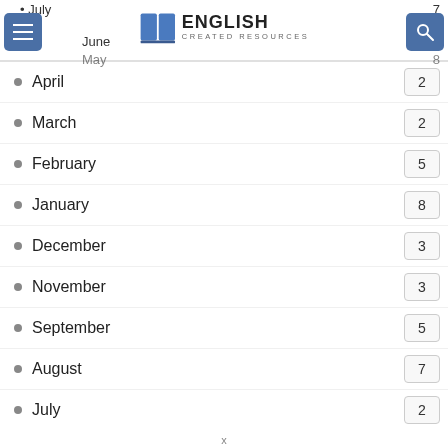English Created Resources – navigation header with menu and search buttons
July – 7
June – (partial)
May – 8
April – 2
March – 2
February – 5
January – 8
December – 3
November – 3
September – 5
August – 7
July – 2
June – 1
May – 2
x